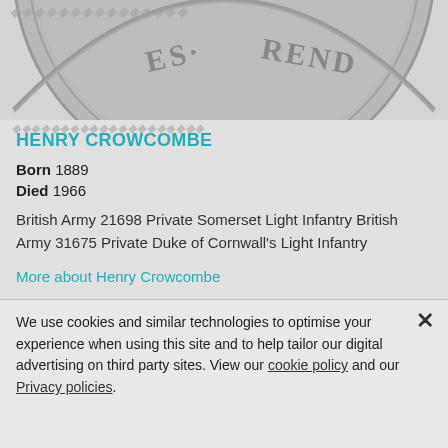[Figure (photo): Close-up photograph of a silver/grey coin showing partial text including letters 'ES' and 'REND' visible on the coin's edge, cropped so only the bottom portion of the coin is shown against a light background.]
HENRY CROWCOMBE
Born 1889
Died 1966
British Army 21698 Private Somerset Light Infantry British Army 31675 Private Duke of Cornwall's Light Infantry
More about Henry Crowcombe
We use cookies and similar technologies to optimise your experience when using this site and to help tailor our digital advertising on third party sites. View our cookie policy and our Privacy policies.